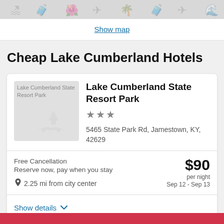[Figure (illustration): Top banner with travel-themed watermark icons (palm tree, luggage, airplane, etc.) on a gray background]
Show map
Cheap Lake Cumberland Hotels
[Figure (photo): Placeholder image for Lake Cumberland State Resort Park with gray background and travel icons]
Lake Cumberland State Resort Park
★★★
5465 State Park Rd, Jamestown, KY, 42629
Free Cancellation
Reserve now, pay when you stay
$90 per night
Sep 12 - Sep 13
2.25 mi from city center
Show details
[Figure (illustration): Red/pink button bar at bottom of page]